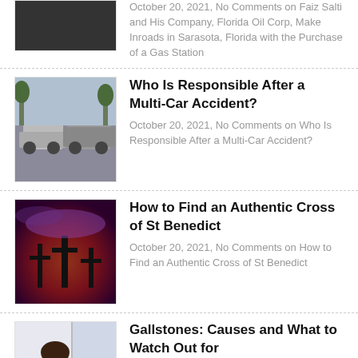[Figure (photo): Dark/black thumbnail image at top]
October 20, 2021, No Comments on Faiz Salti and His Company, Florida Oil Corp, Make Inroads in Sarasota, Florida with the Purchase of a Gas Station
[Figure (photo): Photo of a multi-car accident on a road]
Who Is Responsible After a Multi-Car Accident?
October 20, 2021, No Comments on Who Is Responsible After a Multi-Car Accident?
[Figure (photo): Photo of crosses at sunset with dramatic red sky]
How to Find an Authentic Cross of St Benedict
October 20, 2021, No Comments on How to Find an Authentic Cross of St Benedict
[Figure (photo): Photo of a woman looking out a window, medical context]
Gallstones: Causes and What to Watch Out for
October 20, 2021, No Comments on Gallstones Causes and What to Watch Out for
[Figure (illustration): Colorful volunteer hands illustration with VOLUNTEER text]
Alternative travel: See the world as a volunteer this year
October 20, 2021, No Comments on Alternative travel: See the world as a volunteer this year